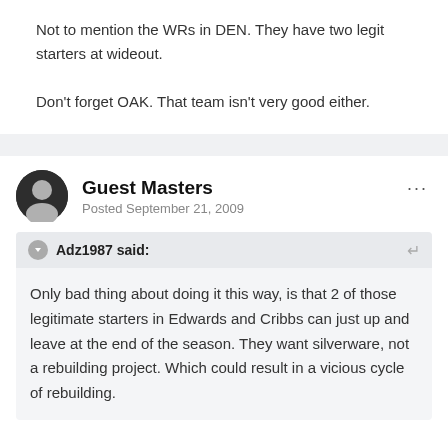Not to mention the WRs in DEN. They have two legit starters at wideout.
Don't forget OAK. That team isn't very good either.
Guest Masters
Posted September 21, 2009
Adz1987 said:
Only bad thing about doing it this way, is that 2 of those legitimate starters in Edwards and Cribbs can just up and leave at the end of the season. They want silverware, not a rebuilding project. Which could result in a vicious cycle of rebuilding.